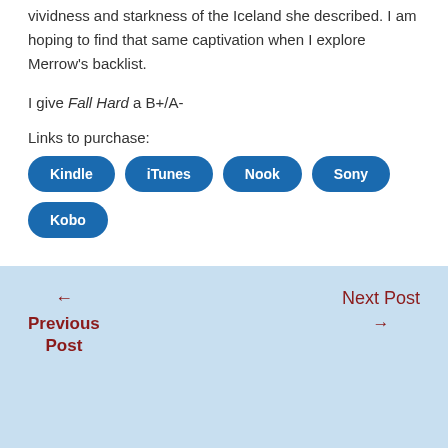vividness and starkness of the Iceland she described. I am hoping to find that same captivation when I explore Merrow's backlist.
I give Fall Hard a B+/A-
Links to purchase:
Kindle
iTunes
Nook
Sony
Kobo
← Previous Post | Next Post →